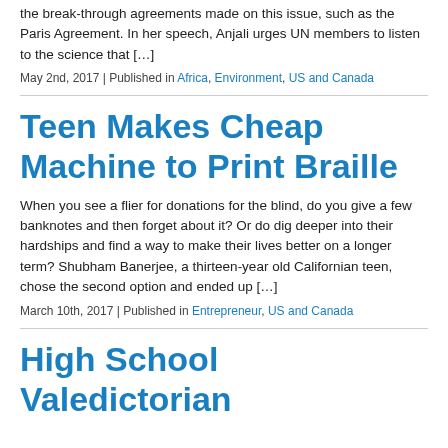the break-through agreements made on this issue, such as the Paris Agreement.  In her speech, Anjali urges UN members to listen to the science that […]
May 2nd, 2017  |  Published in Africa, Environment, US and Canada
Teen Makes Cheap Machine to Print Braille
When you see a flier for donations for the blind, do you give a few banknotes and then forget about it? Or do dig deeper into their hardships and find a way to make their lives better on a longer term? Shubham Banerjee, a thirteen-year old Californian teen, chose the second option and ended up […]
March 10th, 2017  |  Published in Entrepreneur, US and Canada
High School Valedictorian